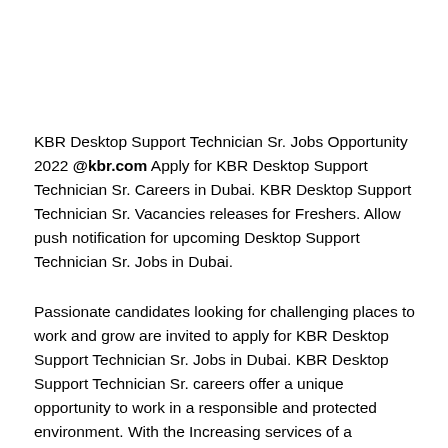KBR Desktop Support Technician Sr. Jobs Opportunity 2022 @kbr.com Apply for KBR Desktop Support Technician Sr. Careers in Dubai. KBR Desktop Support Technician Sr. Vacancies releases for Freshers. Allow push notification for upcoming Desktop Support Technician Sr. Jobs in Dubai.
Passionate candidates looking for challenging places to work and grow are invited to apply for KBR Desktop Support Technician Sr. Jobs in Dubai. KBR Desktop Support Technician Sr. careers offer a unique opportunity to work in a responsible and protected environment. With the Increasing services of a company, they have demand for Desktop Support Technician Sr. Jobs in Dubai. Some other professionals and